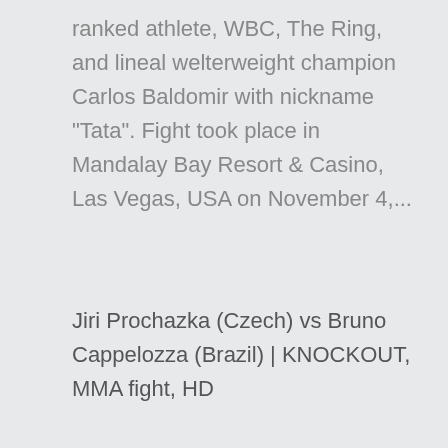ranked athlete, WBC, The Ring, and lineal welterweight champion Carlos Baldomir with nickname "Tata". Fight took place in Mandalay Bay Resort & Casino, Las Vegas, USA on November 4,...
Jiri Prochazka (Czech) vs Bruno Cappelozza (Brazil) | KNOCKOUT, MMA fight, HD